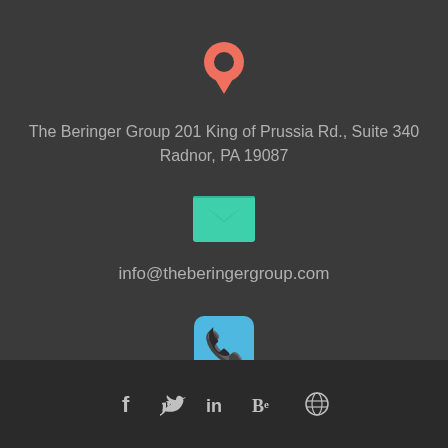[Figure (illustration): Red/salmon map pin location icon]
The Beringer Group 201 King of Prussia Rd., Suite 340
Radnor, PA 19087
[Figure (illustration): Green envelope/email icon]
info@theberingergroup.com
[Figure (illustration): Blue rounded square phone icon]
610-293-2020
[Figure (illustration): Social media icons: Facebook, Twitter, LinkedIn, Behance, Dribbble]